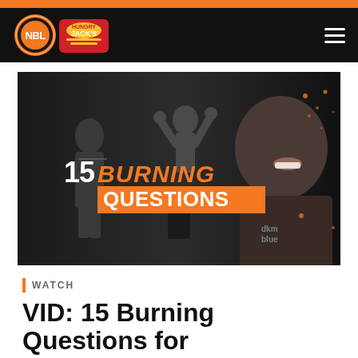[Figure (logo): NBL Hungry Jack's league logo on black header navigation bar with hamburger menu icon]
[Figure (photo): Hero image showing basketball players and coaches in dramatic black and white with orange accent colors. Text overlay reads '15 BURNING QUESTIONS' with BURNING in orange and QUESTIONS on orange background. Features a smiling player in dkm blue jersey prominently on the right.]
WATCH
VID: 15 Burning Questions for